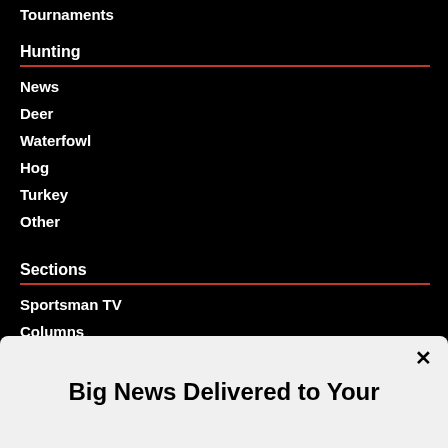Tournaments
Hunting
News
Deer
Waterfowl
Hog
Turkey
Other
Sections
Sportsman TV
Columns
Businesses
Big News Delivered to Your